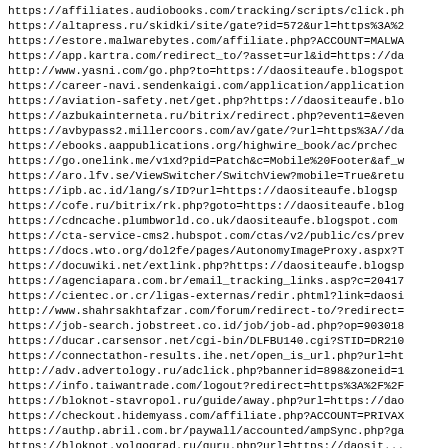https://affiliates.audiobooks.com/tracking/scripts/click.ph
https://altapress.ru/skidki/site/gate?id=572&url=https%3A%2
https://estore.malwarebytes.com/affiliate.php?ACCOUNT=MALWA
https://app.kartra.com/redirect_to/?asset=url&id=https://da
http://www.yasni.com/go.php?to=https://daositeaufe.blogspot
https://career-navi.sendenkaigi.com/application/application
https://aviation-safety.net/get.php?https://daositeaufe.blo
https://azbukainterneta.ru/bitrix/redirect.php?event1=&even
https://avbypass2.millercoors.com/av/gate/?url=https%3A//da
https://ebooks.aappublications.org/highwire_book/ac/prchec
https://go.onelink.me/v1xd?pid=Patch&c=Mobile%20Footer&af_w
https://aro.lfv.se/ViewSwitcher/SwitchView?mobile=True&retu
https://ipb.ac.id/lang/s/ID?url=https://daositeaufe.blogsp
https://cofe.ru/bitrix/rk.php?goto=https://daositeaufe.blog
https://cdncache.plumbworld.co.uk/daositeaufe.blogspot.com
https://cta-service-cms2.hubspot.com/ctas/v2/public/cs/prev
https://docs.wto.org/dol2fe/pages/AutonomyImageProxy.aspx?T
https://docuwiki.net/extlink.php?https://daositeaufe.blogsp
https://agenciapara.com.br/email_tracking_links.asp?c=20417
https://cientec.or.cr/ligas-externas/redir.phtml?link=daosi
http://www.shahrsakhtafzar.com/forum/redirect-to/?redirect=
https://job-search.jobstreet.co.id/job/job-ad.php?op=903018
https://ducar.carsensor.net/cgi-bin/DLFBU140.cgi?STID=DR210
https://connectathon-results.ihe.net/open_is_url.php?url=ht
http://adv.advertology.ru/adclick.php?bannerid=898&zoneid=1
https://info.taiwantrade.com/logout?redirect=https%3A%2F%2F
https://bloknot-stavropol.ru/guide/away.php?url=https://dao
https://checkout.hidemyass.com/affiliate.php?ACCOUNT=PRIVAX
https://authp.abril.com.br/paywall/accounted/ampSync.php?ga
https://bloknot.volgograd.ru/guru.php?url=https://daosit...